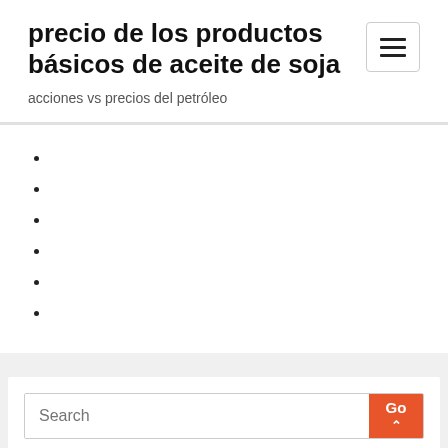precio de los productos básicos de aceite de soja
acciones vs precios del petróleo